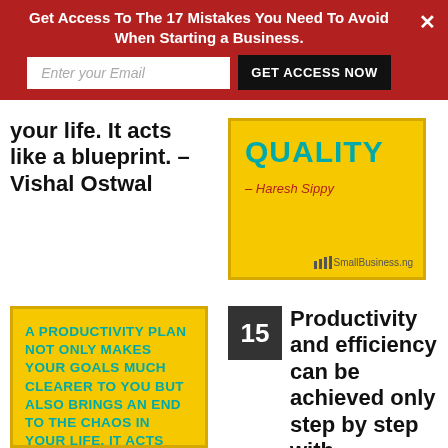Get Access To The 17 Mistakes You Need To Avoid When Starting a Business.
Enter your Email
GET ACCESS NOW
your life. It acts like a blueprint. – Vishal Ostwal
[Figure (infographic): Yellow card with word QUALITY in teal and attribution – Haresh Sippy in red, with SmallBusiness.ng branding]
[Figure (infographic): Yellow card with text: A PRODUCTIVITY PLAN NOT ONLY MAKES YOUR GOALS MUCH CLEARER TO YOU BUT ALSO BRINGS AN END TO THE CHAOS IN YOUR LIFE. IT ACTS LIKE A BLUEPRINT – Vishal Ostwal]
15   Productivity and efficiency can be achieved only step by step with